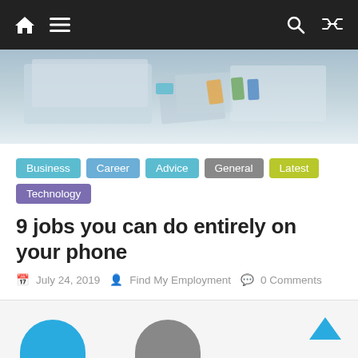Navigation bar with home icon, menu icon, search icon, and shuffle icon
[Figure (photo): Hero image showing a desk workspace with a laptop, notebook, and papers from an aerial view]
Business
Career
Advice
General
Latest
Technology
9 jobs you can do entirely on your phone
July 24, 2019   Find My Employment   0 Comments
Smartphones have redefined what it means to work from home. As working remotely becomes more and more common, technology is
Read more
[Figure (illustration): Partial circles visible at bottom of page suggesting more content below]